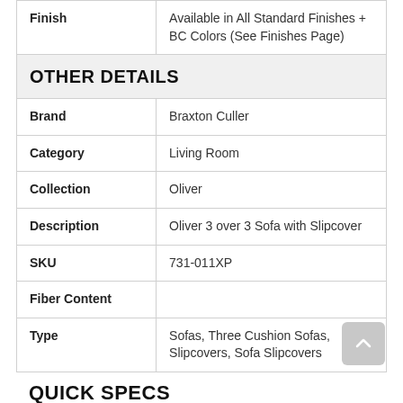| Field | Value |
| --- | --- |
| Finish | Available in All Standard Finishes + BC Colors (See Finishes Page) |
| OTHER DETAILS |  |
| Brand | Braxton Culler |
| Category | Living Room |
| Collection | Oliver |
| Description | Oliver 3 over 3 Sofa with Slipcover |
| SKU | 731-011XP |
| Fiber Content |  |
| Type | Sofas, Three Cushion Sofas, Slipcovers, Sofa Slipcovers |
QUICK SPECS